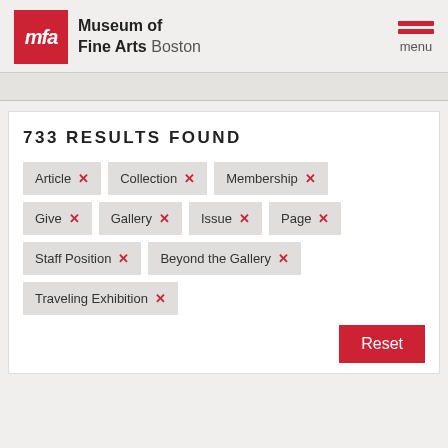Museum of Fine Arts Boston
733 RESULTS FOUND
Article ×
Collection ×
Membership ×
Give ×
Gallery ×
Issue ×
Page ×
Staff Position ×
Beyond the Gallery ×
Traveling Exhibition ×
Reset